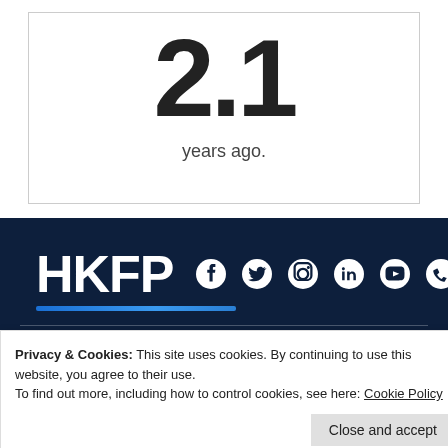2.1
years ago.
[Figure (logo): HKFP logo with social media icons (Facebook, Twitter, Instagram, LinkedIn, YouTube, Phone, RSS) on dark navy background]
Privacy & Cookies: This site uses cookies. By continuing to use this website, you agree to their use.
To find out more, including how to control cookies, see here: Cookie Policy
Close and accept
Annual Report